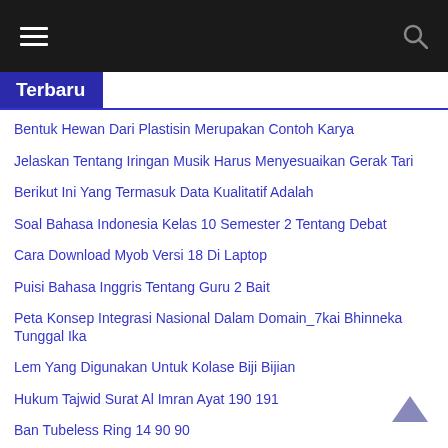≡  🔍
Terbaru
Bentuk Hewan Dari Plastisin Merupakan Contoh Karya
Jelaskan Tentang Iringan Musik Harus Menyesuaikan Gerak Tari
Berikut Ini Yang Termasuk Data Kualitatif Adalah
Soal Bahasa Indonesia Kelas 10 Semester 2 Tentang Debat
Cara Download Myob Versi 18 Di Laptop
Puisi Bahasa Inggris Tentang Guru 2 Bait
Peta Konsep Integrasi Nasional Dalam Domain_7kai Bhinneka Tunggal Ika
Lem Yang Digunakan Untuk Kolase Biji Bijian
Hukum Tajwid Surat Al Imran Ayat 190 191
Ban Tubeless Ring 14 90 90